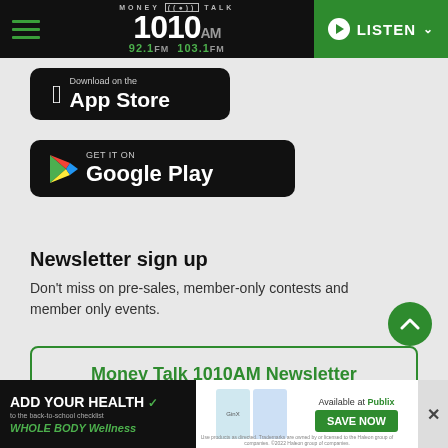Money Talk 1010 AM / 92.1 FM / 103.1 FM — LISTEN
[Figure (logo): App Store download button (black rounded rectangle with Apple logo and 'App Store' text)]
[Figure (logo): Google Play download button (black rounded rectangle with Google Play triangle logo and 'GET IT ON Google Play' text)]
Newsletter sign up
Don't miss on pre-sales, member-only contests and member only events.
Money Talk 1010AM Newsletter
[Figure (other): Advertisement banner: ADD YOUR HEALTH to the back-to-school checklist, WHOLE BODY Wellness, with GinX products, Available at Publix, SAVE NOW]